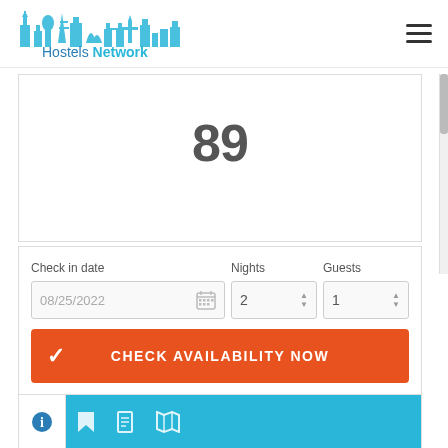[Figure (logo): Hostels Network logo with city skyline silhouette in blue tones]
89
Check in date: 08/25/2022, Nights: 2, Guests: 1
CHECK AVAILABILITY NOW
[Figure (screenshot): Bottom tab bar with info icon and navigation icons on cyan background]